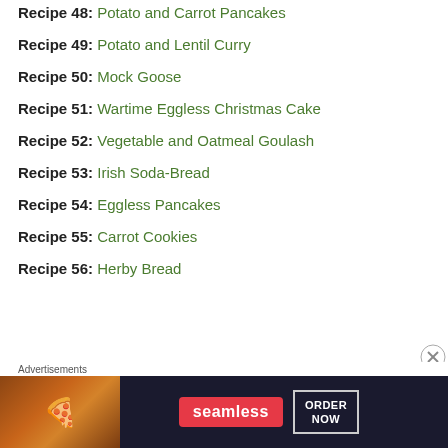Recipe 48: Potato and Carrot Pancakes
Recipe 49: Potato and Lentil Curry
Recipe 50: Mock Goose
Recipe 51: Wartime Eggless Christmas Cake
Recipe 52: Vegetable and Oatmeal Goulash
Recipe 53: Irish Soda-Bread
Recipe 54: Eggless Pancakes
Recipe 55: Carrot Cookies
Recipe 56: Herby Bread
[Figure (other): Seamless advertisement banner with pizza image, Seamless logo, and ORDER NOW button]